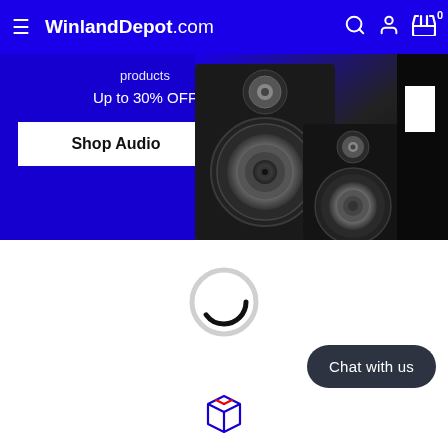WinlandDepot.com
[Figure (screenshot): Promotional banner for audio products with two black speakers on blue background. Text reads 'products', 'Up to 30% OFF', and a white button 'Shop Audio'.]
[Figure (other): Loading spinner circle animation indicator]
Chat with us
[Figure (other): Package box icon in blue and red outline]